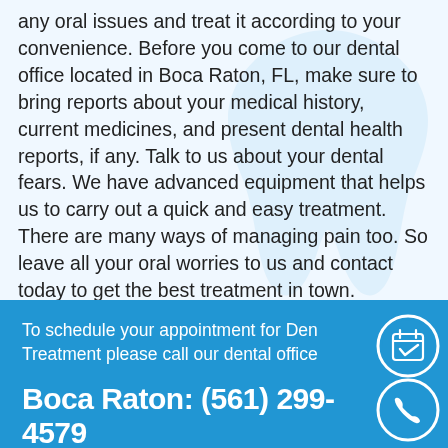any oral issues and treat it according to your convenience. Before you come to our dental office located in Boca Raton, FL, make sure to bring reports about your medical history, current medicines, and present dental health reports, if any. Talk to us about your dental fears. We have advanced equipment that helps us to carry out a quick and easy treatment. There are many ways of managing pain too. So leave all your oral worries to us and contact today to get the best treatment in town.
To schedule your appointment for Dental Treatment please call our dental office
Boca Raton: (561) 299-4579